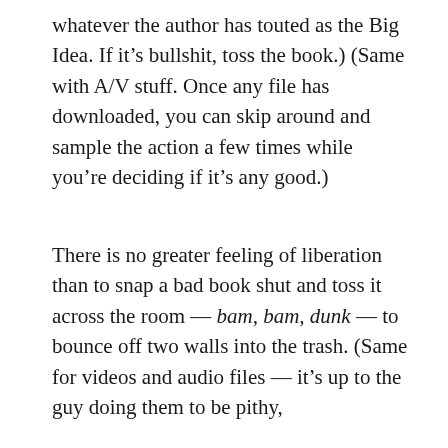whatever the author has touted as the Big Idea. If it's bullshit, toss the book.) (Same with A/V stuff. Once any file has downloaded, you can skip around and sample the action a few times while you're deciding if it's any good.)
There is no greater feeling of liberation than to snap a bad book shut and toss it across the room — bam, bam, dunk — to bounce off two walls into the trash. (Same for videos and audio files — it's up to the guy doing them to be pithy,